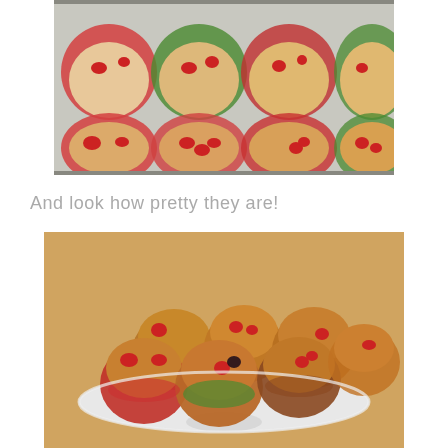[Figure (photo): Top-down view of a muffin tin with unbaked muffins in colorful red and green silicone liners, each topped with mixed berries including strawberries, raspberries, and blackberries.]
And look how pretty they are!
[Figure (photo): Baked mixed berry muffins piled on a white cake stand, showing golden-brown tops with visible strawberries, raspberries, and blackberries, in red and green paper liners, on a wooden surface.]